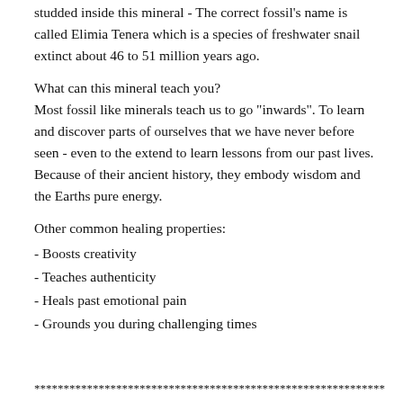studded inside this mineral - The correct fossil's name is called Elimia Tenera which is a species of freshwater snail extinct about 46 to 51 million years ago.
What can this mineral teach you?
Most fossil like minerals teach us to go "inwards". To learn and discover parts of ourselves that we have never before seen - even to the extend to learn lessons from our past lives. Because of their ancient history, they embody wisdom and the Earths pure energy.
Other common healing properties:
- Boosts creativity
- Teaches authenticity
- Heals past emotional pain
- Grounds you during challenging times
************************************************************